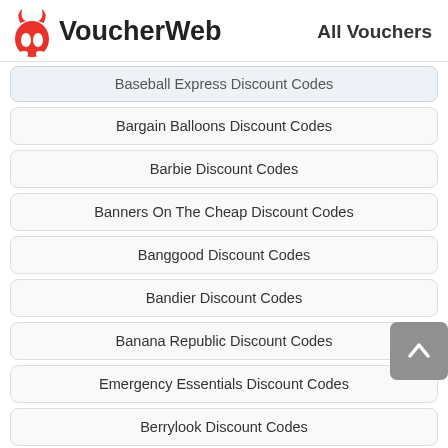VoucherWeb  All Vouchers
Baseball Express Discount Codes
Bargain Balloons Discount Codes
Barbie Discount Codes
Banners On The Cheap Discount Codes
Banggood Discount Codes
Bandier Discount Codes
Banana Republic Discount Codes
Emergency Essentials Discount Codes
Berrylook Discount Codes
Best Cigar Prices Discount Codes